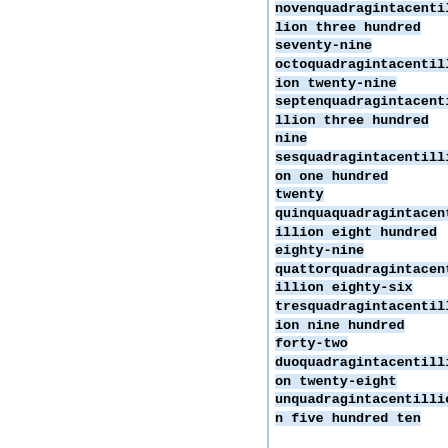novenquadragintacentillion three hundred seventy-nine octoquadragintacentillion twenty-nine septenquadragintacentillion three hundred nine sesquadragintacentillion one hundred twenty quinquaquadragintacentillion eight hundred eighty-nine quattorquadragintacentillion eighty-six tresquadragintacentillion nine hundred forty-two duoquadragintacentillion twenty-eight unquadragintacentillion five hundred ten